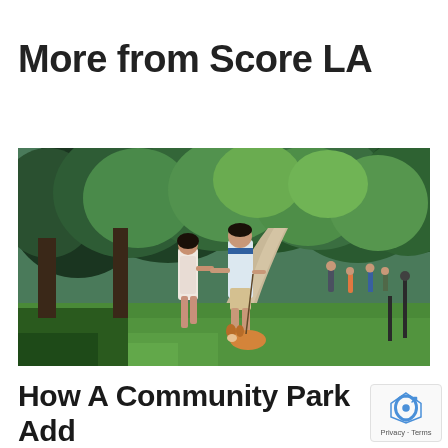More from Score LA
[Figure (photo): A couple holding hands and walking a dog in a lush green park with trees and other visitors in the background on a sunny day.]
How A Community Park Adds Value To Your Real Estate Investment